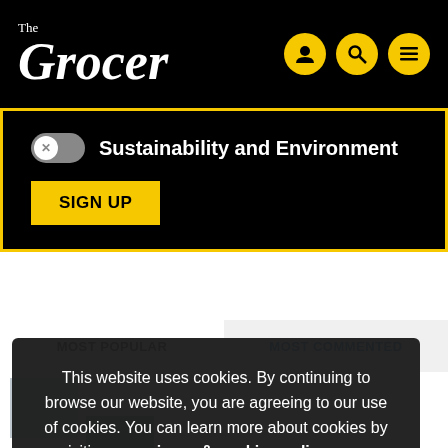The Grocer
Sustainability and Environment
SIGN UP
MOST POPULAR
MOST COMMENTED
This website uses cookies. By continuing to browse our website, you are agreeing to our use of cookies. You can learn more about cookies by visiting our privacy & cookies policy page.
OK